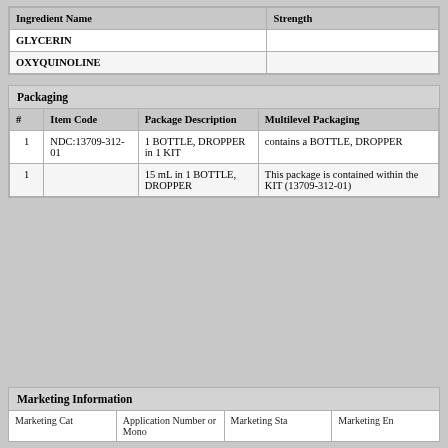| Ingredient Name | Strength |
| --- | --- |
| GLYCERIN |  |
| OXYQUINOLINE |  |
Packaging
| # | Item Code | Package Description | Multilevel Packaging |
| --- | --- | --- | --- |
| 1 | NDC:13709-312-01 | 1 BOTTLE, DROPPER in 1 KIT | contains a BOTTLE, DROPPER |
| 1 |  | 15 mL in 1 BOTTLE, DROPPER | This package is contained within the KIT (13709-312-01) |
Marketing Information
| Marketing Cat | Application Number or Mono | Marketing Sta | Marketing En |
| --- | --- | --- | --- |